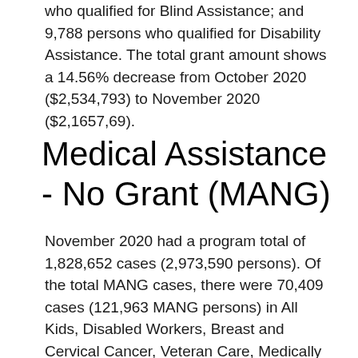who qualified for Blind Assistance; and 9,788 persons who qualified for Disability Assistance. The total grant amount shows a 14.56% decrease from October 2020 ($2,534,793) to November 2020 ($2,1657,69).
Medical Assistance - No Grant (MANG)
November 2020 had a program total of 1,828,652 cases (2,973,590 persons). Of the total MANG cases, there were 70,409 cases (121,963 MANG persons) in All Kids, Disabled Workers, Breast and Cervical Cancer, Veteran Care, Medically Fragile Technology Dependent, and Department of Corrections programs. Overall, MANG cases in November 2020 show a 10.37% increase (171,858 cases) since November 2019